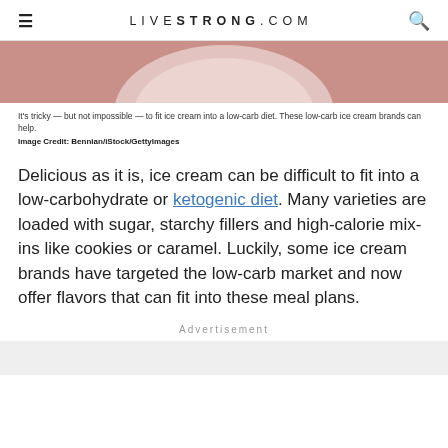LIVESTRONG.COM
[Figure (photo): Partial view of a plate with pink/rose background — hero image for low-carb ice cream article]
It's tricky — but not impossible — to fit ice cream into a low-carb diet. These low-carb ice cream brands can help.
Image Credit: Bennian/iStock/GettyImages
Delicious as it is, ice cream can be difficult to fit into a low-carbohydrate or ketogenic diet. Many varieties are loaded with sugar, starchy fillers and high-calorie mix-ins like cookies or caramel. Luckily, some ice cream brands have targeted the low-carb market and now offer flavors that can fit into these meal plans.
Advertisement